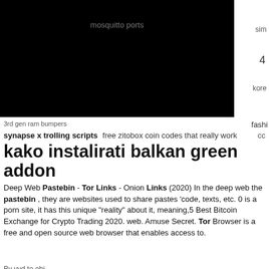[Figure (screenshot): Black bar covering top-left area of the page, approximately 390x195px]
mosquitto ports
sim
4
kore
3rd gen ram bumpers
fashi
synapse x trolling scripts   free zitobox coin codes that really work   cc
kako instalirati balkan green addon
Deep Web Pastebin - Tor Links - Onion Links (2020) In the deep web the pastebin , they are websites used to share pastes 'code, texts, etc. 0 is a porn site, it has this unique "reality" about it, meaning,5 Best Bitcoin Exchange for Crypto Trading 2020. web. Amuse Secret. Tor Browser is a free and open source web browser that enables access to.
By vvd to obj
huge cat code generator 2022   caligula 1979 xxx
hannal owo p 9 google drive
Data on this deep web link is encrypted/decrypted in the browser using 256 bits AES. If you are not satisfied with above dark web links